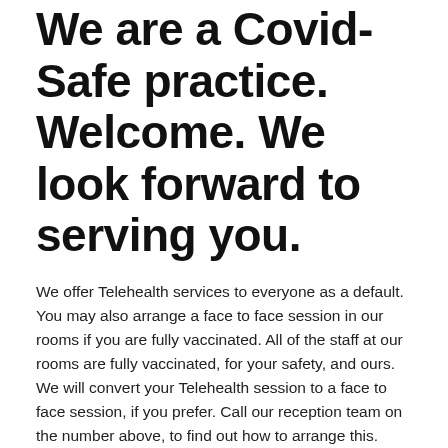We are a Covid-Safe practice. Welcome. We look forward to serving you.
We offer Telehealth services to everyone as a default. You may also arrange a face to face session in our rooms if you are fully vaccinated. All of the staff at our rooms are fully vaccinated, for your safety, and ours. We will convert your Telehealth session to a face to face session, if you prefer. Call our reception team on the number above, to find out how to arrange this.
Some background on us
All of us at Open Sky Psychology do what we do